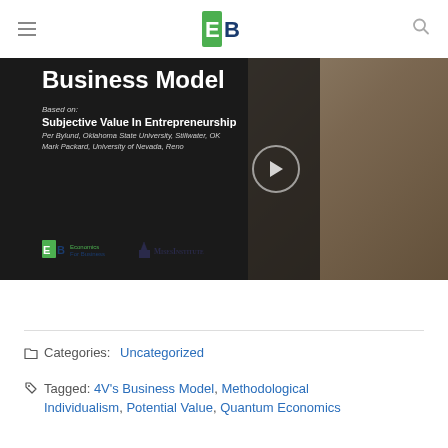EB Economics For Business [logo]
[Figure (screenshot): Video thumbnail showing 'Business Model' title text over dark background with alphabet dice image. Subtitle: Based on: Subjective Value In Entrepreneurship. Authors: Per Bylund, Oklahoma State University, Stillwater, OK; Mark Packard, University of Nevada, Reno. Logos: EB Economics For Business and Mises Institute. Play button visible.]
Categories: Uncategorized
Tagged: 4V's Business Model, Methodological Individualism, Potential Value, Quantum Economics